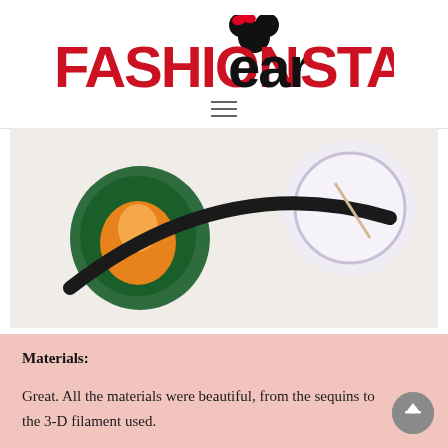[Figure (logo): FashionEarSta logo with red and black text and Minnie Mouse ears icon above 'ear']
[Figure (photo): Close-up photo of Disney-themed headbands with colorful character medallions on a white surface, black headband visible in center]
Materials:
Great. All the materials were beautiful, from the sequins to the 3-D filament used.